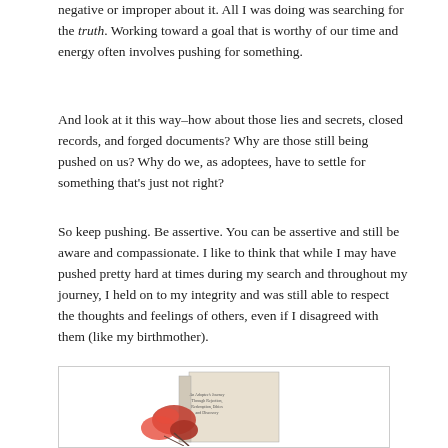negative or improper about it. All I was doing was searching for the truth. Working toward a goal that is worthy of our time and energy often involves pushing for something.
And look at it this way–how about those lies and secrets, closed records, and forged documents? Why are those still being pushed on us? Why do we, as adoptees, have to settle for something that's just not right?
So keep pushing. Be assertive. You can be assertive and still be aware and compassionate. I like to think that while I may have pushed pretty hard at times during my search and throughout my journey, I held on to my integrity and was still able to respect the thoughts and feelings of others, even if I disagreed with them (like my birthmother).
[Figure (photo): A book with a red flower/roses on the cover, partially visible at the bottom of the page inside a bordered rectangle.]